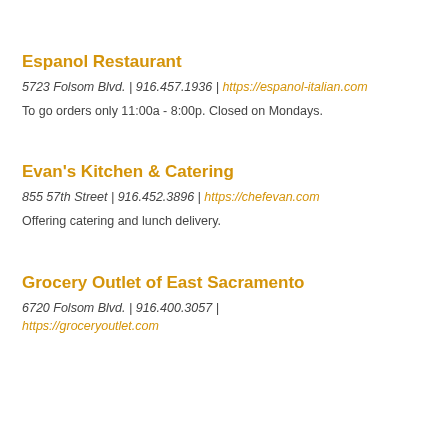Espanol Restaurant
5723 Folsom Blvd. | 916.457.1936 | https://espanol-italian.com
To go orders only 11:00a - 8:00p. Closed on Mondays.
Evan's Kitchen & Catering
855 57th Street | 916.452.3896 | https://chefevan.com
Offering catering and lunch delivery.
Grocery Outlet of East Sacramento
6720 Folsom Blvd. | 916.400.3057 | https://groceryoutlet.com